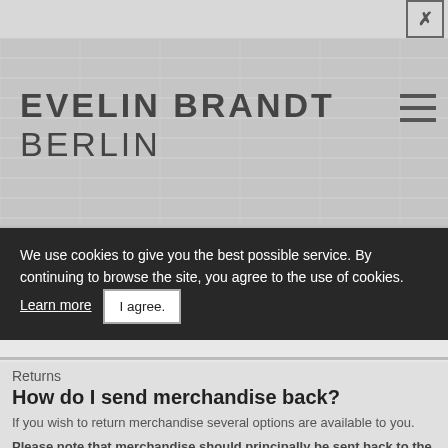[Figure (screenshot): Close/X button in top right corner of browser or overlay]
EVELIN BRANDT BERLIN
We use cookies to give you the best possible service. By continuing to browse the site, you agree to the use of cookies. Learn more  I agree.
Returns
How do I send merchandise back?
If you wish to return merchandise several options are available to you.
Please note that merchandise should principally be sent back to the address from where the merchandise was delivered to you . Return Service via e-shop-direct.com On our homepage there is a process permitting you to rapidly and comfortably handle the return of merchandise. Here you get to the Returns processing. You may also call the customer service so that we can assist you in getting your returns on their way: